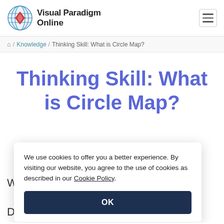Visual Paradigm Online
/ Knowledge / Thinking Skill: What is Circle Map?
Thinking Skill: What is Circle Map?
We use cookies to offer you a better experience. By visiting our website, you agree to the use of cookies as described in our Cookie Policy.
OK